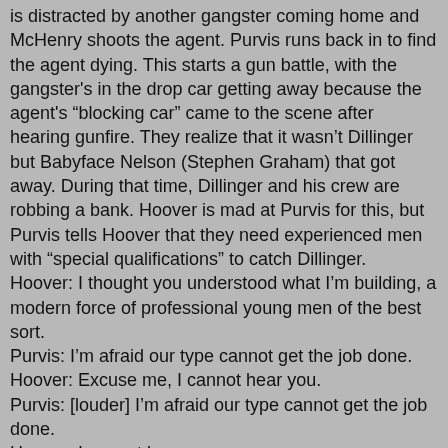is distracted by another gangster coming home and McHenry shoots the agent. Purvis runs back in to find the agent dying. This starts a gun battle, with the gangster's in the drop car getting away because the agent's "blocking car" came to the scene after hearing gunfire. They realize that it wasn't Dillinger but Babyface Nelson (Stephen Graham) that got away. During that time, Dillinger and his crew are robbing a bank. Hoover is mad at Purvis for this, but Purvis tells Hoover that they need experienced men with "special qualifications" to catch Dillinger.
Hoover: I thought you understood what I'm building, a modern force of professional young men of the best sort.
Purvis: I'm afraid our type cannot get the job done.
Hoover: Excuse me, I cannot hear you.
Purvis: [louder] I'm afraid our type cannot get the job done.
Hoover; I cannot hear you.
Purvis: [louder] I'm afraid our type cannot get the job done. Without qualified help, I would have to resign this appointment. Otherwise, I am leading my men to slaughter.
Hoover: Mr. Tolson will call you, Agent Purvis.
A group of experienced lawmen soon arrive and Purvis meets them getting off their train.